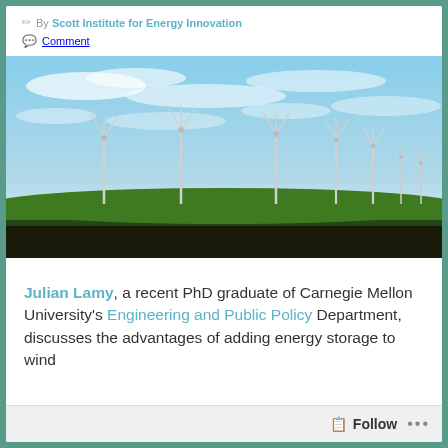By Scott Institute for Energy Innovation
Comment
[Figure (photo): Wind turbines on a green field under a blue sky with wispy clouds, shot at dusk/dawn. Multiple tall wind turbines are visible on the horizon.]
Julian Lamy, a recent PhD graduate of Carnegie Mellon University's Engineering and Public Policy Department, discusses the advantages of adding energy storage to wind